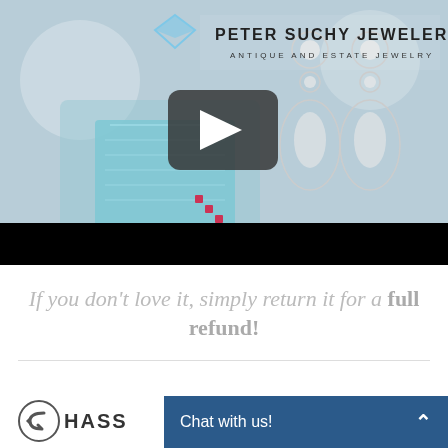[Figure (screenshot): Peter Suchy Jewelers video thumbnail showing an aquamarine ring with ruby accents and diamond drop earrings, with a YouTube play button overlay. The store name 'PETER SUCHY JEWELERS' and 'ANTIQUE AND ESTATE JEWELRY' are shown at the top of the image.]
If you don't love it, simply return it for a full refund!
[Figure (logo): Hassle-free return logo with back arrow icon and text 'HASS...' (partially visible)]
Chat with us!